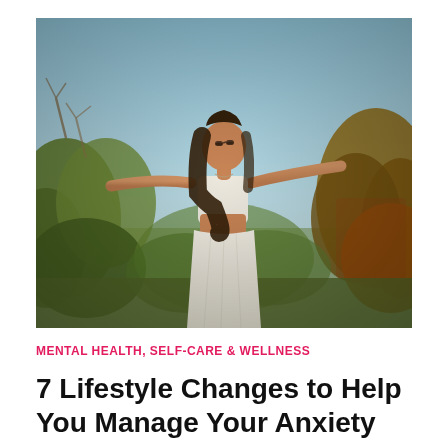[Figure (photo): A woman in a white crop top and long white skirt stands outdoors with arms outstretched wide, eyes closed, head tilted back. She is surrounded by shrubs and trees under a bright blue sky. The photo has a warm, natural tone.]
MENTAL HEALTH, SELF-CARE & WELLNESS
7 Lifestyle Changes to Help You Manage Your Anxiety